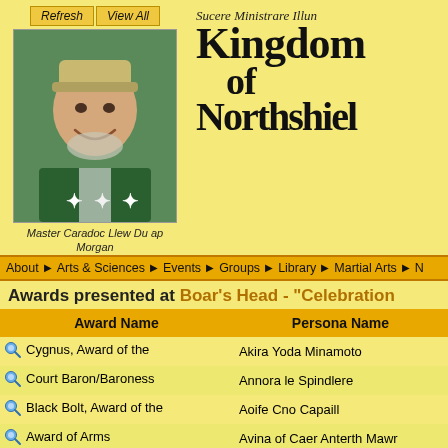Sucere Ministrare Illum
Kingdom of Northshield
[Figure (photo): Photo of Master Caradoc Llew Du ap Morgan, a man in medieval garb smiling, with Refresh and View All buttons above]
Master Caradoc Llew Du ap Morgan
About | Arts & Sciences | Events | Groups | Library | Martial Arts | N
Awards presented at Boar's Head - "Celebration
| Award Name | Persona Name |
| --- | --- |
| Cygnus, Award of the | Akira Yoda Minamoto |
| Court Baron/Baroness | Annora le Spindlere |
| Black Bolt, Award of the | Aoife Cno Capaill |
| Award of Arms | Avina of Caer Anterth Mawr |
| Cygnus, Award of the | Corydon Rathbone |
| Aquila et Fulmen, Order of the | Crispin Fletcher |
| Award of Arms | Emmett Cno' Capaill |